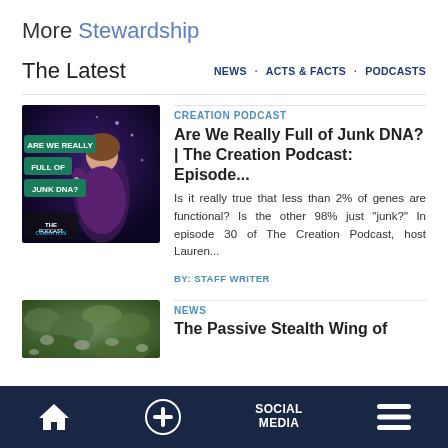More Stewardship
The Latest
NEWS  ACTS & FACTS  PODCASTS
[Figure (photo): Podcast thumbnail showing a woman in a purple top with text 'Are We Really Full of Junk DNA? The Creation Podcast']
CREATION PODCAST
Are We Really Full of Junk DNA? | The Creation Podcast: Episode...
Is it really true that less than 2% of genes are functional? Is the other 98% just "junk?" In episode 30 of The Creation Podcast, host Lauren...
BY: STAFF WRITER
[Figure (photo): Nature/wildlife thumbnail image]
NEWS
The Passive Stealth Wing of
SOCIAL MEDIA